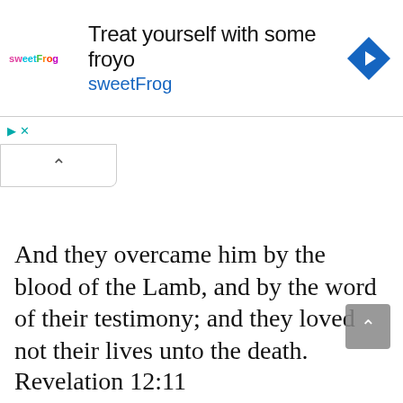[Figure (screenshot): sweetFrog frozen yogurt advertisement banner with logo, headline 'Treat yourself with some froyo', subtext 'sweetFrog', and a blue navigation/direction icon on the right.]
And they overcame him by the blood of the Lamb, and by the word of their testimony; and they loved not their lives unto the death. Revelation 12:11